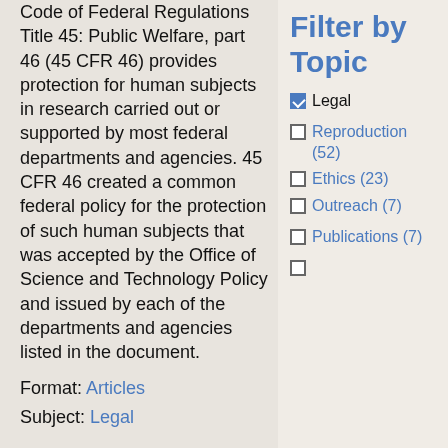Code of Federal Regulations Title 45: Public Welfare, part 46 (45 CFR 46) provides protection for human subjects in research carried out or supported by most federal departments and agencies. 45 CFR 46 created a common federal policy for the protection of such human subjects that was accepted by the Office of Science and Technology Policy and issued by each of the departments and agencies listed in the document.
Format: Articles
Subject: Legal
Filter by Topic
Legal (checked)
Reproduction (52)
Ethics (23)
Outreach (7)
Publications (7)